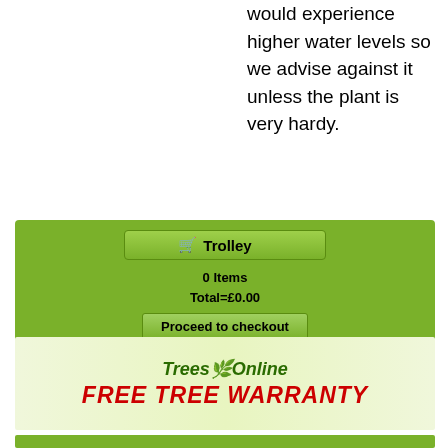would experience higher water levels so we advise against it unless the plant is very hardy.
[Figure (screenshot): Trolley widget with green background showing 0 Items, Total=£0.00, and Proceed to checkout button]
[Figure (logo): Trees Online Free Tree Warranty banner with green gradient background, Trees Online logo in dark green italic, and FREE TREE WARRANTY in red bold italic text]